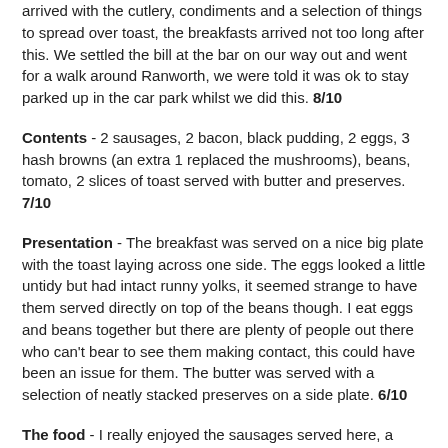arrived with the cutlery, condiments and a selection of things to spread over toast, the breakfasts arrived not too long after this. We settled the bill at the bar on our way out and went for a walk around Ranworth, we were told it was ok to stay parked up in the car park whilst we did this. 8/10
Contents - 2 sausages, 2 bacon, black pudding, 2 eggs, 3 hash browns (an extra 1 replaced the mushrooms), beans, tomato, 2 slices of toast served with butter and preserves. 7/10
Presentation - The breakfast was served on a nice big plate with the toast laying across one side. The eggs looked a little untidy but had intact runny yolks, it seemed strange to have them served directly on top of the beans though. I eat eggs and beans together but there are plenty of people out there who can't bear to see them making contact, this could have been an issue for them. The butter was served with a selection of neatly stacked preserves on a side plate. 6/10
The food - I really enjoyed the sausages served here, a decent pork sausage with firm texture and delectable flavour.